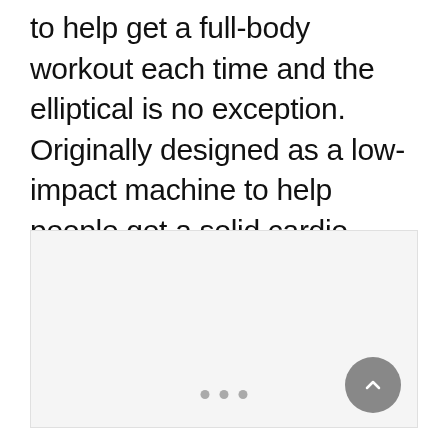to help get a full-body workout each time and the elliptical is no exception. Originally designed as a low-impact machine to help people get a solid cardio workout without putting too much stress on the knees, the elliptical is perfect for shedding calories.
[Figure (other): Blank/placeholder image area with light gray background below the text content]